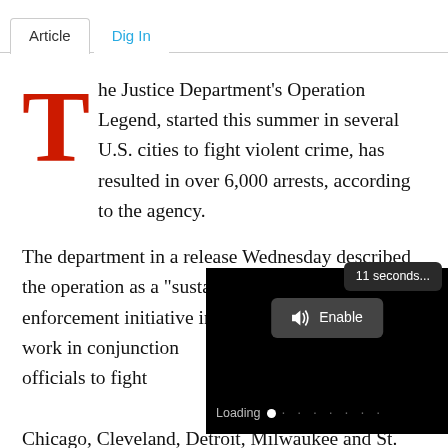Article | Dig In
The Justice Department's Operation Legend, started this summer in several U.S. cities to fight violent crime, has resulted in over 6,000 arrests, according to the agency.
The department in a release Wednesday described the operation as a "sustained, syst... enforcement initiative in whic... agencies work in conjunction... enforcement officials to fight...
[Figure (screenshot): Video player overlay showing '11 seconds...' tooltip, Enable audio button with speaker icon, and Loading progress bar on black background]
Chicago, Cleveland, Detroit, Milwaukee and St. Louis